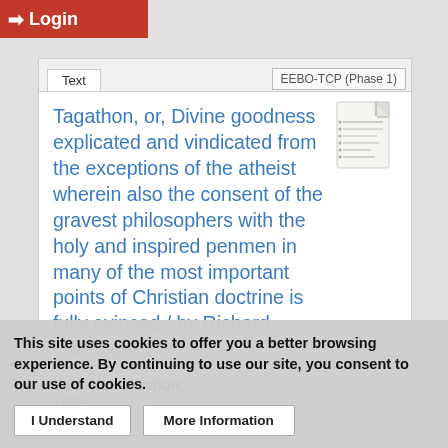Login
EEBO-TCP (Phase 1)
Tagathon, or, Divine goodness explicated and vindicated from the exceptions of the atheist wherein also the consent of the gravest philosophers with the holy and inspired penmen in many of the most important points of Christian doctrine is fully evinced / by Richard Burthogge.
Date of publication:
1672
Author(s):
This site uses cookies to offer you a better browsing experience. By continuing to use our site, you consent to our use of cookies.